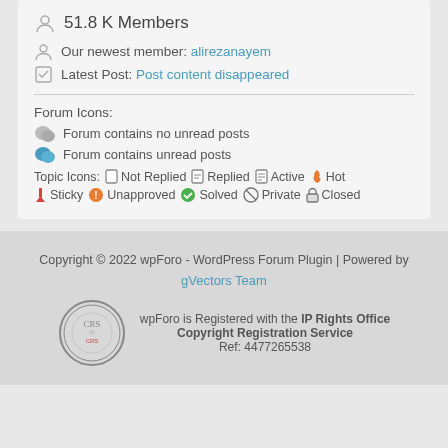51.8 K Members
Our newest member: alirezanayem
Latest Post: Post content disappeared
Forum Icons:
Forum contains no unread posts
Forum contains unread posts
Topic Icons: Not Replied  Replied  Active  Hot  Sticky  Unapproved  Solved  Private  Closed
Copyright © 2022 wpForo - WordPress Forum Plugin | Powered by gVectors Team
wpForo is Registered with the IP Rights Office Copyright Registration Service
Ref: 4477265538